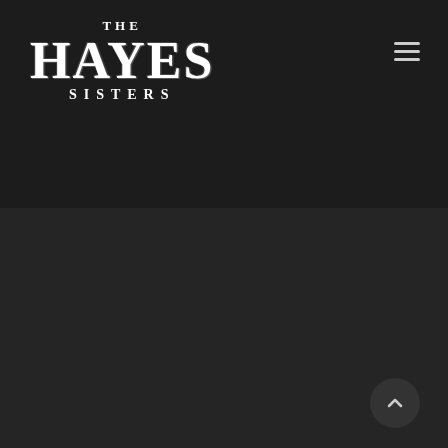[Figure (logo): The Hayes Sisters distressed text logo in white on dark background, header top-left]
[Figure (other): Hamburger menu icon (three horizontal lines) top-right]
[Figure (logo): The Hayes Sisters distressed text logo in white, footer area bottom-left]
© 2020 The Hayes Sisters. All rights reserved.
[Figure (other): Back to top button, dark circle with upward chevron, bottom-right]